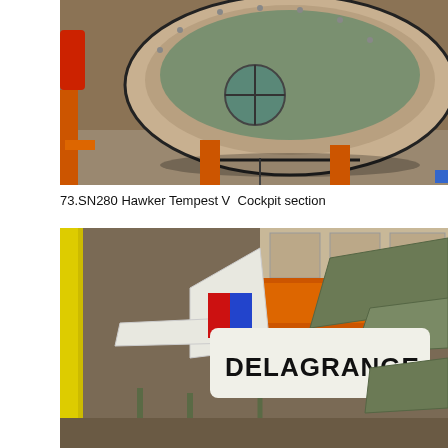[Figure (photo): Close-up photograph of the cockpit section of a Hawker Tempest V aircraft fuselage, showing an oval-shaped bare metal/wooden cockpit frame with a circular port hole opening, sitting on orange support stands in a workshop or museum setting.]
73.SN280 Hawker Tempest V  Cockpit section
[Figure (photo): Photograph of aircraft in a museum storage or hangar area. Visible is a tail section with RAF roundel (red and blue squares) markings, and the text 'DELAGRANGE' on a white aircraft surface. Yellow safety barriers visible on the left, orange equipment in background.]